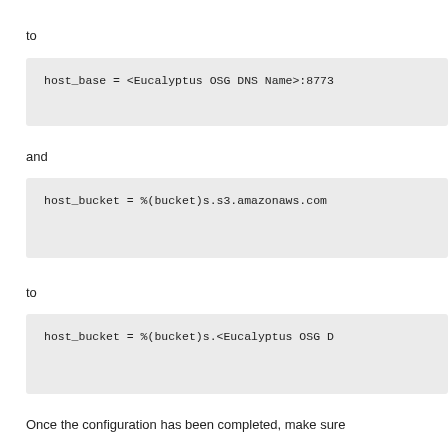to
host_base = <Eucalyptus OSG DNS Name>:8773
and
host_bucket = %(bucket)s.s3.amazonaws.com
to
host_bucket = %(bucket)s.<Eucalyptus OSG D
Once the configuration has been completed, make sure